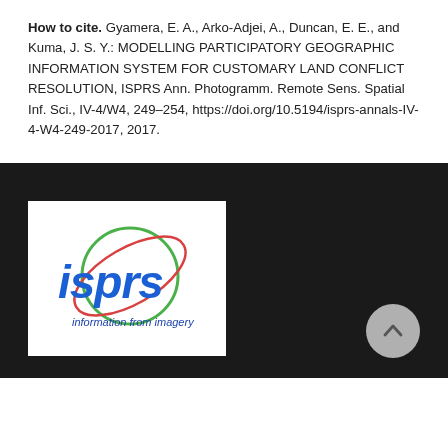How to cite. Gyamera, E. A., Arko-Adjei, A., Duncan, E. E., and Kuma, J. S. Y.: MODELLING PARTICIPATORY GEOGRAPHIC INFORMATION SYSTEM FOR CUSTOMARY LAND CONFLICT RESOLUTION, ISPRS Ann. Photogramm. Remote Sens. Spatial Inf. Sci., IV-4/W4, 249–254, https://doi.org/10.5194/isprs-annals-IV-4-W4-249-2017, 2017.
[Figure (logo): ISPRS logo with green circle orbit, red orbit ellipse, blue 'isprs' text, and tagline 'information from imagery']